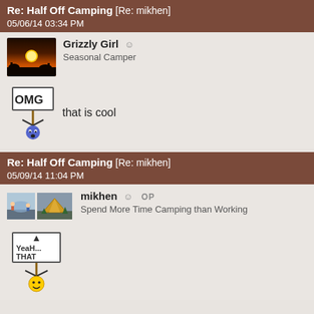Re: Half Off Camping [Re: mikhen] 05/06/14 03:34 PM
Grizzly Girl - Seasonal Camper
[Figure (illustration): OMG sign emoji with blue character holding sign, text: that is cool]
Re: Half Off Camping [Re: mikhen] 05/09/14 11:04 PM
mikhen OP - Spend More Time Camping than Working
[Figure (illustration): Yeah That sign emoji with yellow smiley character holding sign]